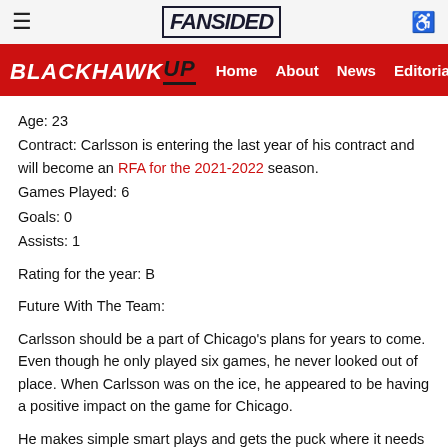FanSided — BlackhawkUp navigation: Home, About, News, Editorials, An…
Age: 23
Contract: Carlsson is entering the last year of his contract and will become an RFA for the 2021-2022 season.
Games Played: 6
Goals: 0
Assists: 1
Rating for the year: B
Future With The Team:
Carlsson should be a part of Chicago's plans for years to come. Even though he only played six games, he never looked out of place. When Carlsson was on the ice, he appeared to be having a positive impact on the game for Chicago.
He makes simple smart plays and gets the puck where it needs to be. Most importantly for Carlsson and Chicago is that he's not a